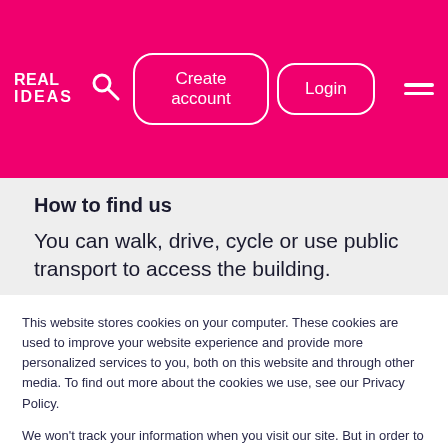Real Ideas — Create account | Login navigation bar
How to find us
You can walk, drive, cycle or use public transport to access the building.
This website stores cookies on your computer. These cookies are used to improve your website experience and provide more personalized services to you, both on this website and through other media. To find out more about the cookies we use, see our Privacy Policy.
We won't track your information when you visit our site. But in order to comply with your preferences, we'll have to use just one tiny cookie so that you're not asked to make this choice again.
Cookie Settings | Accept | Decline